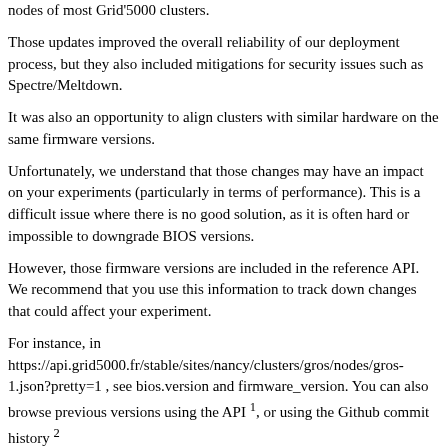nodes of most Grid'5000 clusters.
Those updates improved the overall reliability of our deployment process, but they also included mitigations for security issues such as Spectre/Meltdown.
It was also an opportunity to align clusters with similar hardware on the same firmware versions.
Unfortunately, we understand that those changes may have an impact on your experiments (particularly in terms of performance). This is a difficult issue where there is no good solution, as it is often hard or impossible to downgrade BIOS versions.
However, those firmware versions are included in the reference API. We recommend that you use this information to track down changes that could affect your experiment.
For instance, in https://api.grid5000.fr/stable/sites/nancy/clusters/gros/nodes/gros-1.json?pretty=1 , see bios.version and firmware_version. You can also browse previous versions using the API 1, or using the Github commit history 2